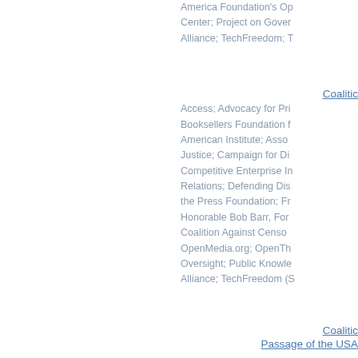America Foundation's Op Center; Project on Gover Alliance; TechFreedom; T
Coalition Access; Advocacy for Pri Booksellers Foundation f American Institute; Asso Justice; Campaign for Di Competitive Enterprise I Relations; Defending Dis the Press Foundation; Fr Honorable Bob Barr, For Coalition Against Censo OpenMedia.org; OpenTh Oversight; Public Knowle Alliance; TechFreedom (S
Coalition Passage of the USA Access; Advocacy for Pri Libraries; American Book